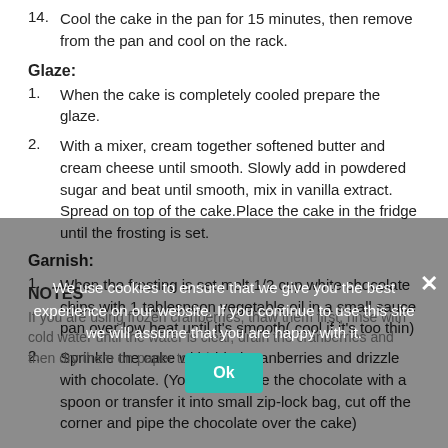14. Cool the cake in the pan for 15 minutes, then remove from the pan and cool on the rack.
Glaze:
1. When the cake is completely cooled prepare the glaze.
2. With a mixer, cream together softened butter and cream cheese until smooth. Slowly add in powdered sugar and beat until smooth, mix in vanilla extract. Spread on top of the cake.Place the cake in the fridge until the frosting is set.
Garnish:
1. When the frosting is set melt 1/2 cup white chocolate chips with 1 tablespoon vegetable oil in a small sauce pan over low heat until it's smooth( cool if it's too thin)
2. Sprinkle the cake with dried cranberries and drizzle with chocolate. (You can drizzle the chocolate with a spoon or transfer it into small zip-lock bag, cut off the corner and pipe the chocolate over the cake)
NOTES
If you are using frozen cranberries, thaw them first, rinse with cold water until the water is clear, drain the cranberries and then dry them on paper towel.
We use cookies to ensure that we give you the best experience on our website. If you continue to use this site we will assume that you are happy with it.